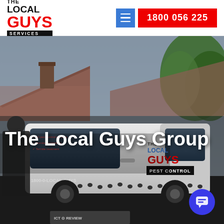[Figure (logo): The Local Guys Services logo with red GUYS text and black bar with SERVICES]
1800 056 225
[Figure (photo): A branded pest control vehicle with 'The Local Guys PEST CONTROL' branding, ant graphics, and 1800-0-LOCAL-GUYS phone number. A person in black uniform stands beside it. Suburban house rooftop visible in background.]
The Local Guys Group